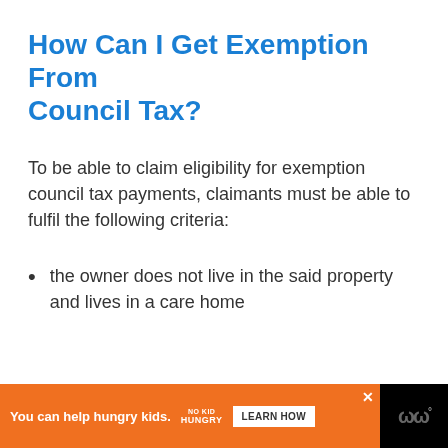How Can I Get Exemption From Council Tax?
To be able to claim eligibility for exemption council tax payments, claimants must be able to fulfil the following criteria:
the owner does not live in the said property and lives in a care home
You can help hungry kids. NO KID HUNGRY LEARN HOW